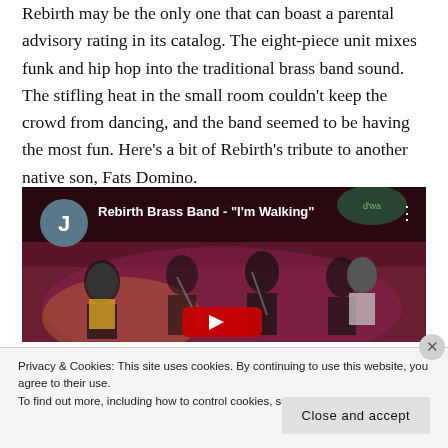Rebirth may be the only one that can boast a parental advisory rating in its catalog. The eight-piece unit mixes funk and hip hop into the traditional brass band sound. The stifling heat in the small room couldn't keep the crowd from dancing, and the band seemed to be having the most fun. Here's a bit of Rebirth's tribute to another native son, Fats Domino.
[Figure (screenshot): Embedded video thumbnail for Rebirth Brass Band - "I'm Walking" showing performers on stage with dark red background, video avatar with letter J, and YouTube-style controls.]
Privacy & Cookies: This site uses cookies. By continuing to use this website, you agree to their use.
To find out more, including how to control cookies, see here: Cookie Policy